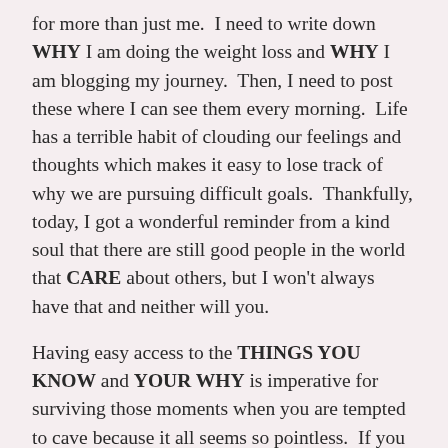for more than just me.  I need to write down WHY I am doing the weight loss and WHY I am blogging my journey.  Then, I need to post these where I can see them every morning.  Life has a terrible habit of clouding our feelings and thoughts which makes it easy to lose track of why we are pursuing difficult goals.  Thankfully, today, I got a wonderful reminder from a kind soul that there are still good people in the world that CARE about others, but I won't always have that and neither will you.
Having easy access to the THINGS YOU KNOW and YOUR WHY is imperative for surviving those moments when you are tempted to cave because it all seems so pointless.  If you are doing this journey, I would encourage you to identify your WHY and WRITE IT DOWN.  This has to be more than just to lose weight or you'll quit the first time the scale betrays you.  This has to be FOR YOU because you don't get to decide if others will care or how much they will